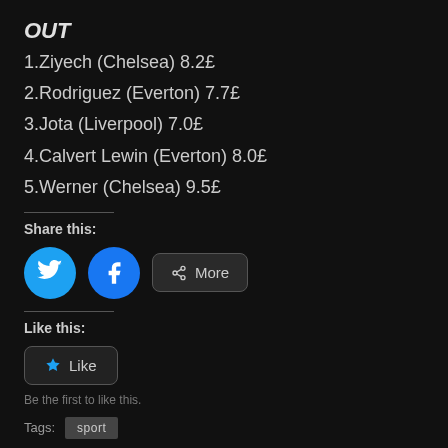OUT
1.Ziyech (Chelsea) 8.2£
2.Rodriguez (Everton) 7.7£
3.Jota (Liverpool) 7.0£
4.Calvert Lewin (Everton) 8.0£
5.Werner (Chelsea) 9.5£
Share this:
[Figure (infographic): Share buttons: Twitter (blue circle with bird icon), Facebook (blue circle with f icon), and More button with share icon]
Like this:
[Figure (infographic): Like button with star icon]
Be the first to like this.
Tags: sport